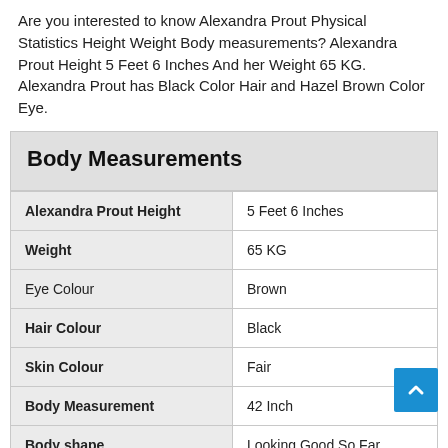Are you interested to know Alexandra Prout Physical Statistics Height Weight Body measurements? Alexandra Prout Height 5 Feet 6 Inches And her Weight 65 KG. Alexandra Prout has Black Color Hair and Hazel Brown Color Eye.
| Attribute | Value |
| --- | --- |
| Alexandra Prout Height | 5 Feet 6 Inches |
| Weight | 65 KG |
| Eye Colour | Brown |
| Hair Colour | Black |
| Skin Colour | Fair |
| Body Measurement | 42 Inch |
| Body shape | Looking Good So Far |